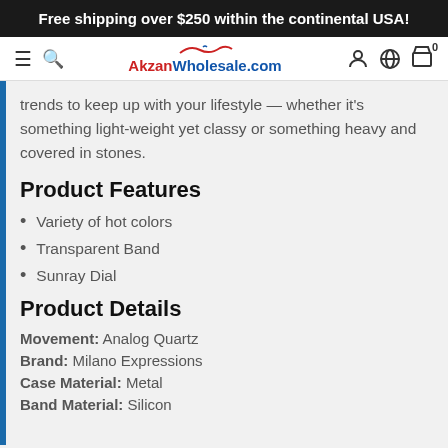Free shipping over $250 within the continental USA!
[Figure (screenshot): Website navigation bar with hamburger menu, search icon, AkzanWholesale.com logo, user icon, globe icon, and shopping bag icon with 0 count]
trends to keep up with your lifestyle — whether it's something light-weight yet classy or something heavy and covered in stones.
Product Features
Variety of hot colors
Transparent Band
Sunray Dial
Product Details
Movement: Analog Quartz
Brand: Milano Expressions
Case Material: Metal
Band Material: Silicon